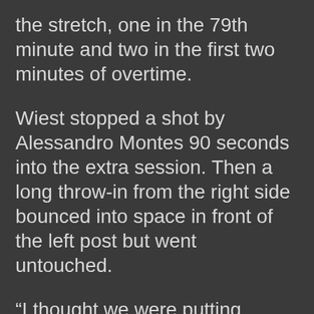the stretch, one in the 79th minute and two in the first two minutes of overtime.
Wiest stopped a shot by Alessandro Montes 90 seconds into the extra session. Then a long throw-in from the right side bounced into space in front of the left post but went untouched.
“I thought we were putting pressure on them in the back and forcing them to make mistakes,” Lake Park coach Anthony Passi said. “I think in the first overtime period we had opportunity